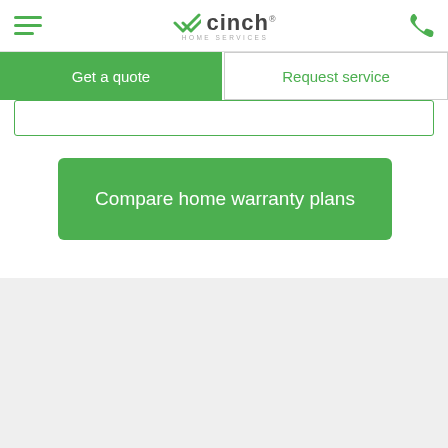cinch HOME SERVICES
Get a quote
Request service
Compare home warranty plans